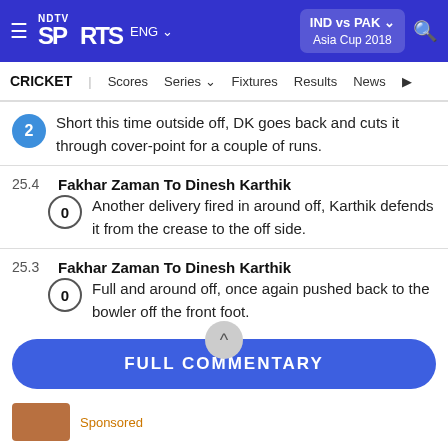NDTV Sports ENG | IND vs PAK Asia Cup 2018
CRICKET | Scores | Series | Fixtures | Results | News
Short this time outside off, DK goes back and cuts it through cover-point for a couple of runs.
25.4 Fakhar Zaman To Dinesh Karthik
Another delivery fired in around off, Karthik defends it from the crease to the off side.
25.3 Fakhar Zaman To Dinesh Karthik
Full and around off, once again pushed back to the bowler off the front foot.
FULL COMMENTARY
Sponsored